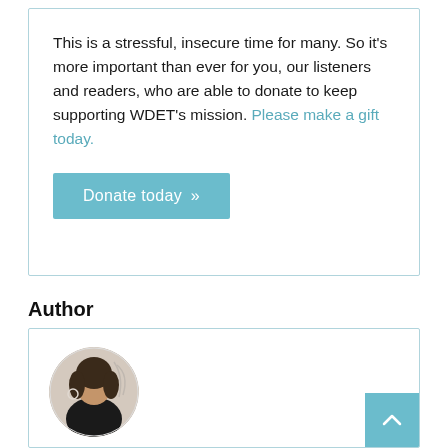This is a stressful, insecure time for many. So it's more important than ever for you, our listeners and readers, who are able to donate to keep supporting WDET's mission. Please make a gift today.
Donate today »
Author
[Figure (photo): Circular profile photo of Ryan Patrick Hooper]
Ryan Patrick Hooper
Ryan Patrick Hooper is the award-winning